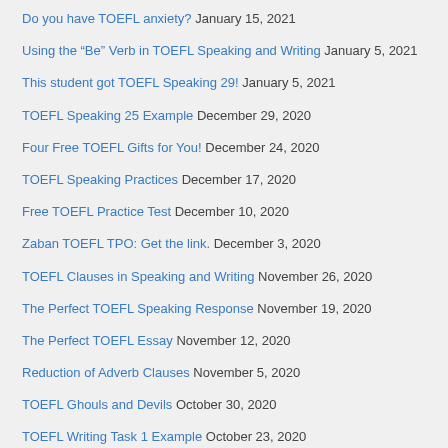Do you have TOEFL anxiety? January 15, 2021
Using the “Be” Verb in TOEFL Speaking and Writing January 5, 2021
This student got TOEFL Speaking 29! January 5, 2021
TOEFL Speaking 25 Example December 29, 2020
Four Free TOEFL Gifts for You! December 24, 2020
TOEFL Speaking Practices December 17, 2020
Free TOEFL Practice Test December 10, 2020
Zaban TOEFL TPO: Get the link. December 3, 2020
TOEFL Clauses in Speaking and Writing November 26, 2020
The Perfect TOEFL Speaking Response November 19, 2020
The Perfect TOEFL Essay November 12, 2020
Reduction of Adverb Clauses November 5, 2020
TOEFL Ghouls and Devils October 30, 2020
TOEFL Writing Task 1 Example October 23, 2020